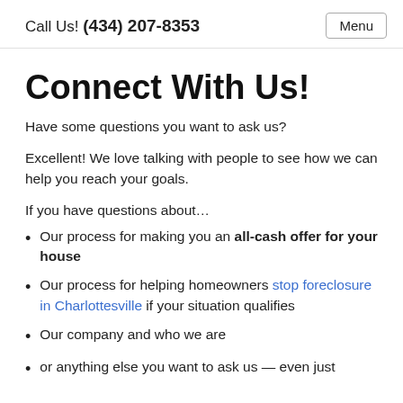Call Us! (434) 207-8353  Menu
Connect With Us!
Have some questions you want to ask us?
Excellent! We love talking with people to see how we can help you reach your goals.
If you have questions about…
Our process for making you an all-cash offer for your house
Our process for helping homeowners stop foreclosure in Charlottesville if your situation qualifies
Our company and who we are
or anything else you want to ask us — even just